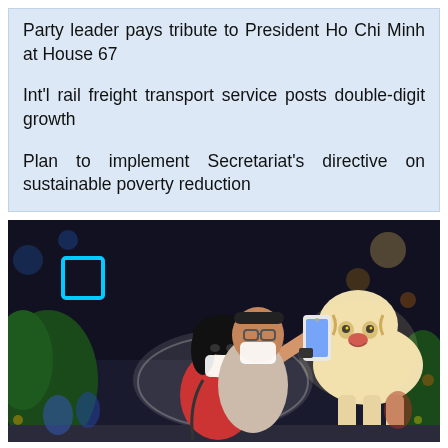Party leader pays tribute to President Ho Chi Minh at House 67
Int'l rail freight transport service posts double-digit growth
Plan to implement Secretariat's directive on sustainable poverty reduction
[Figure (photo): A couple wearing face masks takes a selfie with a glowing tiger sculpture at an outdoor night event. The woman holds a smartphone up for the photo. City lights and crowds visible in the background.]